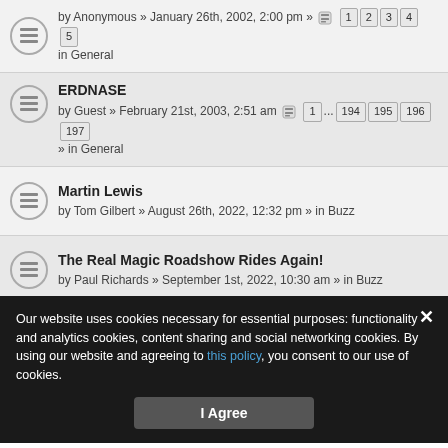by Anonymous » January 26th, 2002, 2:00 pm » in General [pages: 1 2 3 4 5]
ERDNASE
by Guest » February 21st, 2003, 2:51 am » in General [pages: 1 ... 194 195 196 197]
Martin Lewis
by Tom Gilbert » August 26th, 2022, 12:32 pm » in Buzz
The Real Magic Roadshow Rides Again!
by Paul Richards » September 1st, 2022, 10:30 am » in Buzz
Searches working?
by victoroftheapes » August 30th, 2022, 2:10 pm » in iGenii
Trick Supply shop in Vegas/ Wolfgang Wollet
by Jeffrey Cowan » August 31st, 2022, 12:39 am » in Buzz
Our website uses cookies necessary for essential purposes: functionality and analytics cookies, content sharing and social networking cookies. By using our website and agreeing to this policy, you consent to our use of cookies.
I Agree